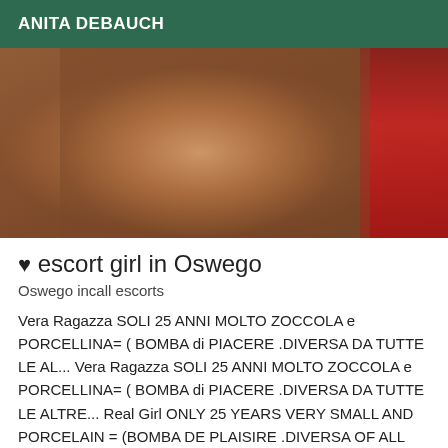ANITA DEBAUCH
[Figure (photo): Close-up photo with dark warm tones and a red fabric accent on the right side]
♥ escort girl in Oswego
Oswego incall escorts
Vera Ragazza SOLI 25 ANNI MOLTO ZOCCOLA e PORCELLINA= ( BOMBA di PIACERE .DIVERSA DA TUTTE LE AL... Vera Ragazza SOLI 25 ANNI MOLTO ZOCCOLA e PORCELLINA= ( BOMBA di PIACERE .DIVERSA DA TUTTE LE ALTRE... Real Girl ONLY 25 YEARS VERY SMALL AND PORCELAIN = (BOMBA DE PLAISIRE .DIVERSA OF ALL THE OTHER... Altro Real Girl ONLY 25 YEARS VERY SMALL AND PORCELAIN